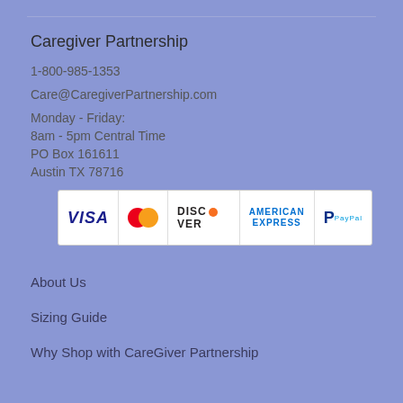Caregiver Partnership
1-800-985-1353
Care@CaregiverPartnership.com
Monday - Friday:
8am - 5pm Central Time
PO Box 161611
Austin TX 78716
[Figure (other): Payment method logos: VISA, MasterCard, DISCOVER, AMERICAN EXPRESS, PayPal]
About Us
Sizing Guide
Why Shop with CareGiver Partnership